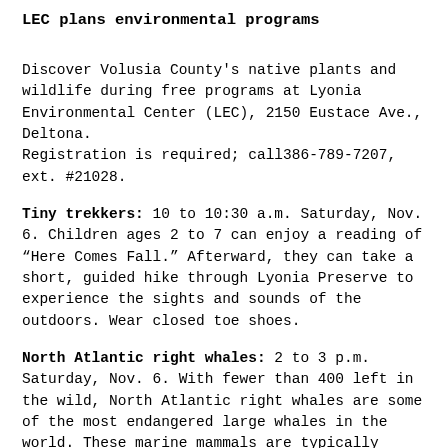LEC plans environmental programs
Discover Volusia County's native plants and wildlife during free programs at Lyonia Environmental Center (LEC), 2150 Eustace Ave., Deltona.
Registration is required; call386-789-7207, ext. #21028.
Tiny trekkers: 10 to 10:30 a.m. Saturday, Nov. 6. Children ages 2 to 7 can enjoy a reading of “Here Comes Fall.” Afterward, they can take a short, guided hike through Lyonia Preserve to experience the sights and sounds of the outdoors. Wear closed toe shoes.
North Atlantic right whales: 2 to 3 p.m. Saturday, Nov. 6. With fewer than 400 left in the wild, North Atlantic right whales are some of the most endangered large whales in the world. These marine mammals are typically sighted off of Florida coastlines between December and March. Join staff in person or online to learn why these whales are coming to our area, why they are endangered, and what wildlife officials are doing to protect them. A link will be provided for online participants.